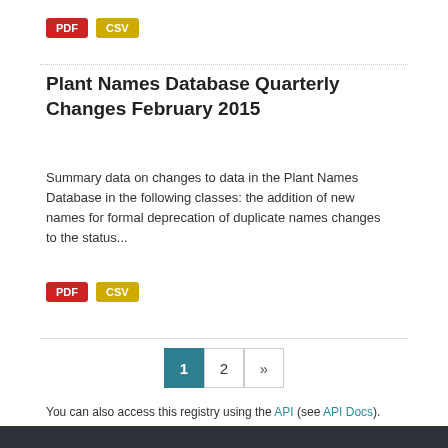[Figure (other): PDF and CSV download buttons at top]
Plant Names Database Quarterly Changes February 2015
Summary data on changes to data in the Plant Names Database in the following classes: the addition of new names for formal deprecation of duplicate names changes to the status...
[Figure (other): PDF and CSV download buttons below description]
[Figure (other): Pagination showing page 1 (active), 2, and next arrow]
You can also access this registry using the API (see API Docs).